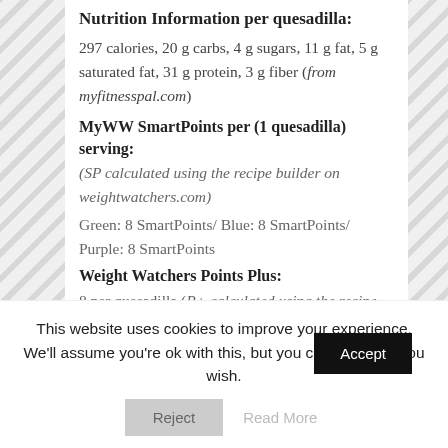Nutrition Information per quesadilla:
297 calories, 20 g carbs, 4 g sugars, 11 g fat, 5 g saturated fat, 31 g protein, 3 g fiber (from myfitnesspal.com)
MyWW SmartPoints per (1 quesadilla) serving:
(SP calculated using the recipe builder on weightwatchers.com)
Green: 8 SmartPoints/ Blue: 8 SmartPoints/ Purple: 8 SmartPoints
Weight Watchers Points Plus:
8 per quesadilla (P+ calculated using the recipe
This website uses cookies to improve your experience. We'll assume you're ok with this, but you can opt-out if you wish.